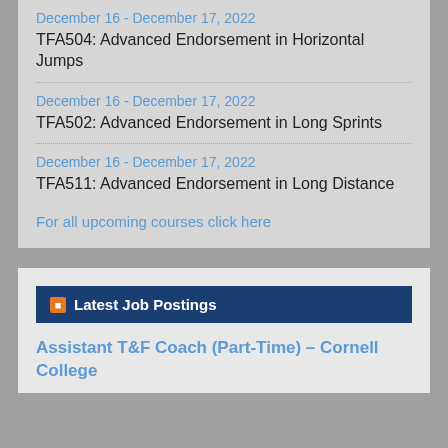December 16 - December 17, 2022
TFA504: Advanced Endorsement in Horizontal Jumps
December 16 - December 17, 2022
TFA502: Advanced Endorsement in Long Sprints
December 16 - December 17, 2022
TFA511: Advanced Endorsement in Long Distance
For all upcoming courses click here
Latest Job Postings
Assistant T&F Coach (Part-Time) – Cornell College